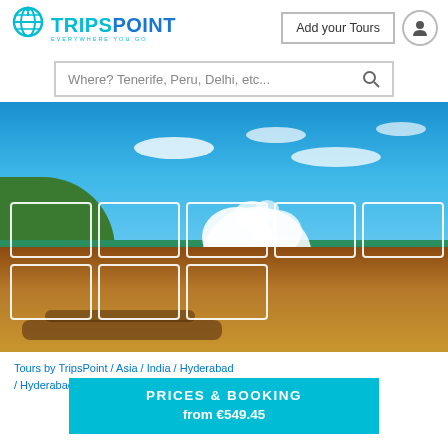[Figure (logo): TripsPoint logo — globe icon with cyan text 'TRIPSPOINT' and tagline 'EVERYWHERE YOU GO']
Add your Tours
Where? Tenerife, Peru, Delhi, etc...
[Figure (photo): Panoramic beach/coastal scene with blue sky, crashing waves, rocky shore, and palm-lined cliffs. White thumbnail grid overlaid on lower portion.]
Tours by TripsPoint / Asia / India / Hyderabad / Hyderabad
PRICES & BOOKING
from €549.45